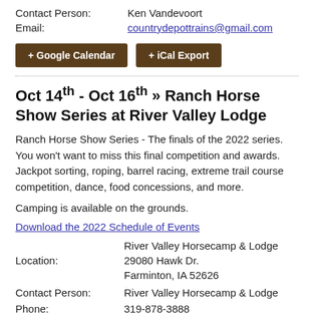Contact Person:  Ken Vandevoort
Email:  countrydepottrains@gmail.com
+ Google Calendar   + iCal Export
Oct 14th - Oct 16th » Ranch Horse Show Series at River Valley Lodge
Ranch Horse Show Series - The finals of the 2022 series. You won't want to miss this final competition and awards. Jackpot sorting, roping, barrel racing, extreme trail course competition, dance, food concessions, and more.
Camping is available on the grounds.
Download the 2022 Schedule of Events
Location:  River Valley Horsecamp & Lodge  29080 Hawk Dr.  Farminton, IA 52626
Contact Person:  River Valley Horsecamp & Lodge
Phone:  319-878-3888
Website:  http://...